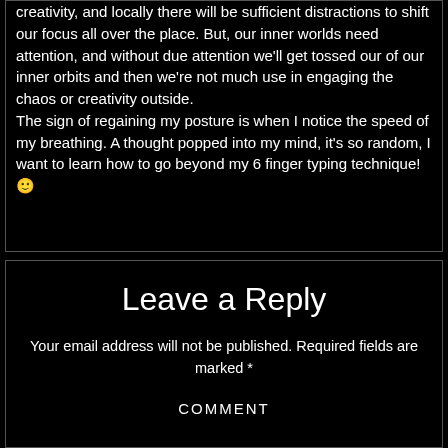creativity, and locally there will be sufficient distractions to shift our focus all over the place. But, our inner worlds need attention, and without due attention we'll get tossed our of our inner orbits and then we're not much use in engaging the chaos or creativity outside.

The sign of regaining my posture is when I notice the speed of my breathing. A thought popped into my mind, it's so random, I want to learn how to go beyond my 6 finger typing technique! 🙂
Leave a Reply
Your email address will not be published. Required fields are marked *
COMMENT